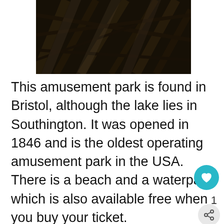[Figure (photo): Dark photograph looking up at a steel roller coaster structure frame, showing metal beams and tracks against a light sky]
This amusement park is found in Bristol, although the lake lies in Southington. It was opened in 1846 and is the oldest operating amusement park in the USA. There is a beach and a waterpark which is also available free when you buy your ticket.
A point here is that the Wildcat Rollercoaster is the 14th oldest wooden roller coaster in the world. You will also find newer coasters such as the Boulder Dash which has won the Award for the # wooden coaster in the world for five years